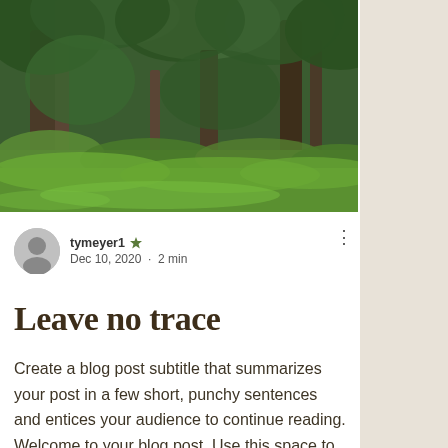[Figure (photo): Forest scene with tall trees, dense green foliage, and lush undergrowth in daylight]
tymeyer1 ✦
Dec 10, 2020 · 2 min
Leave no trace
Create a blog post subtitle that summarizes your post in a few short, punchy sentences and entices your audience to continue reading. Welcome to your blog post. Use this space to connect with your readers and potential